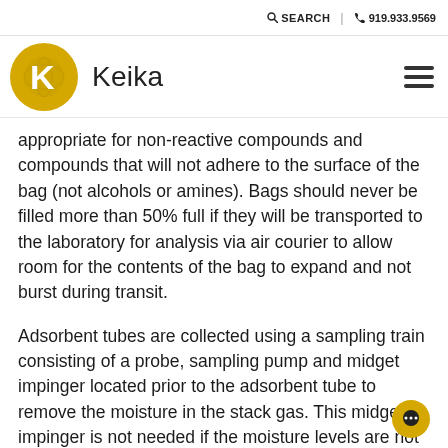SEARCH | 919.933.9569
[Figure (logo): Keika company logo: a gold circle with a white K letter on a globe background, next to the text 'Keika']
appropriate for non-reactive compounds and compounds that will not adhere to the surface of the bag (not alcohols or amines).  Bags should never be filled more than 50% full if they will be transported to the laboratory for analysis via air courier to allow room for the contents of the bag to expand and not burst during transit.
Adsorbent tubes are collected using a sampling train consisting of a probe, sampling pump and midget impinger located prior to the adsorbent tube to remove the moisture in the stack gas.  This midget impinger is not needed if the moisture levels are not expected to exceed 2-3%.  The adsorbent tube should